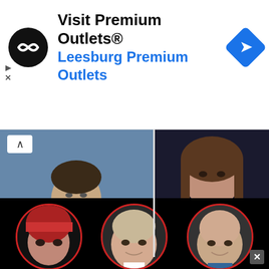[Figure (screenshot): Advertisement banner for Visit Premium Outlets® / Leesburg Premium Outlets with black circular logo and blue navigation arrow icon]
[Figure (photo): Two cropped photos side by side: left shows a smiling man in a dark suit with yellow tie and US flag background; right shows a woman in a red top with pearl necklace]
POLL: Do you have a POSITIVE or NEGATIVE opinion of Ron DeSantis?
[Figure (screenshot): Three blue rounded-rectangle poll buttons labeled Positive, Negative, I'm not sure]
31,272 Votes
[Figure (photo): Black background section showing three circular portrait photos with red circle borders of three different individuals]